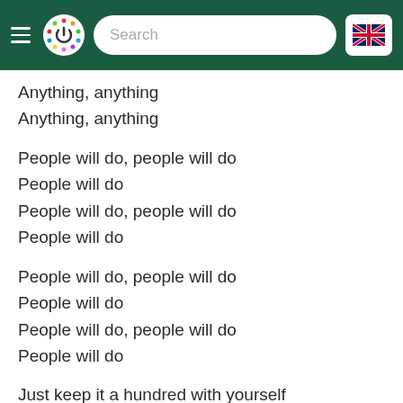Search [navigation bar with hamburger menu, logo, search field, UK flag]
Anything, anything
Anything, anything
People will do, people will do
People will do
People will do, people will do
People will do
People will do, people will do
People will do
People will do, people will do
People will do
Just keep it a hundred with yourself
Keep it real
Keep it a thousand